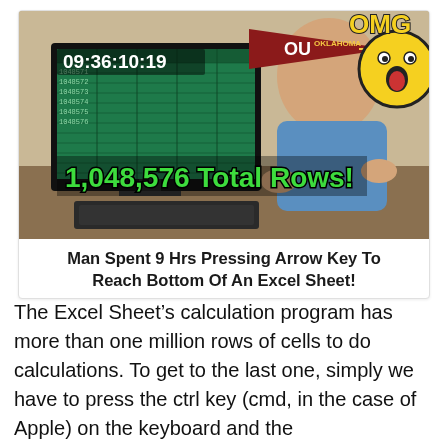[Figure (screenshot): Video thumbnail showing a man sitting in front of a computer monitor displaying an Excel spreadsheet. A timer reads 09:36:10:19 in the top left. An Oklahoma University pennant and an OMG cartoon graphic are visible. Large green text overlay reads '1,048,576 Total Rows!']
Man Spent 9 Hrs Pressing Arrow Key To Reach Bottom Of An Excel Sheet!
The Excel Sheet's calculation program has more than one million rows of cells to do calculations. To get to the last one, simply we have to press the ctrl key (cmd, in the case of Apple) on the keyboard and the